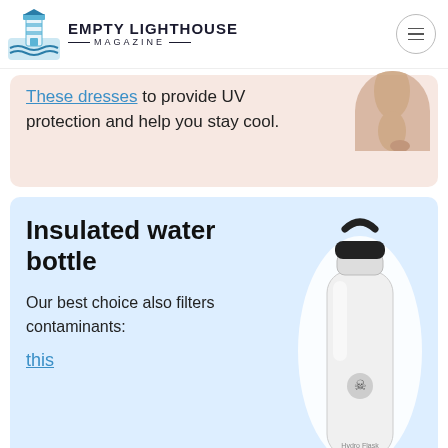Empty Lighthouse Magazine
These dresses to provide UV protection and help you stay cool.
Insulated water bottle
Our best choice also filters contaminants:
this
[Figure (photo): White Hydro Flask insulated water bottle with black lid and carry loop on a light blue background]